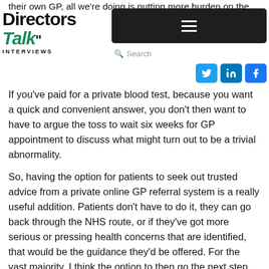their own GP, all we're doing is putting more burden on the
[Figure (logo): Directors Talk Interviews logo with black 'Directors' text and green italic 'Talk' text, with 'INTERVIEWS' in small caps below]
[Figure (screenshot): Navigation hamburger menu (dark bar with three horizontal lines icon) and search bar below it, with Twitter, LinkedIn, and Facebook social media buttons]
If you've paid for a private blood test, because you want a quick and convenient answer, you don't then want to have to argue the toss to wait six weeks for GP appointment to discuss what might turn out to be a trivial abnormality.
So, having the option for patients to seek out trusted advice from a private online GP referral system is a really useful addition. Patients don't have to do it, they can go back through the NHS route, or if they've got more serious or pressing health concerns that are identified, that would be the guidance they'd be offered. For the vast majority, I think the option to then go the next step and say, yes, actually I'll talk to a credible GP service online promptly and find out whether this is something that needs action now, or whether it's nearly something that needs retesting after a period of time or something that I needn't worry about at all. That helps to provide the complete package, and as I said before, I